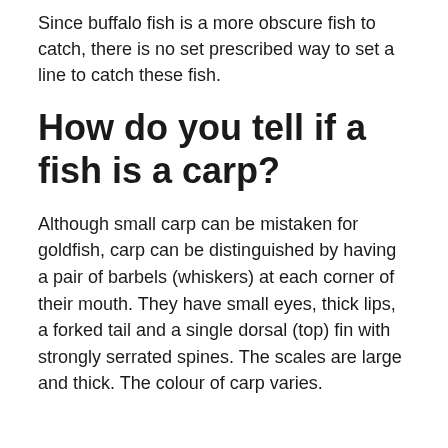Since buffalo fish is a more obscure fish to catch, there is no set prescribed way to set a line to catch these fish.
How do you tell if a fish is a carp?
Although small carp can be mistaken for goldfish, carp can be distinguished by having a pair of barbels (whiskers) at each corner of their mouth. They have small eyes, thick lips, a forked tail and a single dorsal (top) fin with strongly serrated spines. The scales are large and thick. The colour of carp varies.